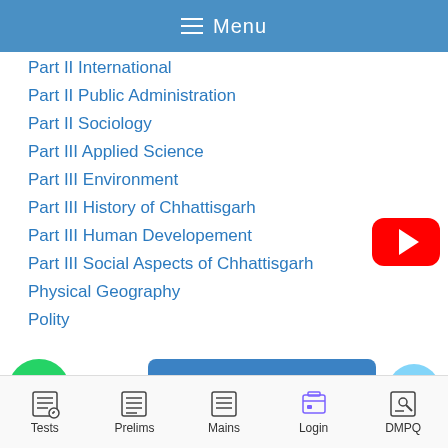Menu
Part II International
Part II Public Administration
Part II Sociology
Part III Applied Science
Part III Environment
Part III History of Chhattisgarh
Part III Human Developement
Part III Social Aspects of Chhattisgarh
Physical Geography
Polity
[Figure (logo): YouTube button red rounded rectangle with white play triangle]
[Figure (logo): WhatsApp green circle icon with phone]
[Figure (screenshot): Get CG GK PDF button in blue]
[Figure (logo): Chat bubble icon]
Tests   Prelims   Mains   Login   DMPQ